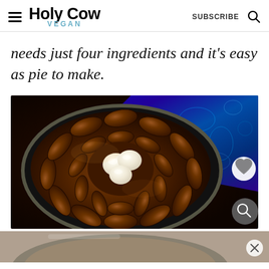Holy Cow Vegan — SUBSCRIBE
needs just four ingredients and it's easy as pie to make.
[Figure (photo): Overhead shot of a caramelized tarte tatin or upside-down apple cake on a dark plate, topped with cream dollops, placed on a blue paisley fabric background. Heart and search icon overlays visible.]
[Figure (photo): Partial bottom image, cut off, with a close (X) button overlay.]